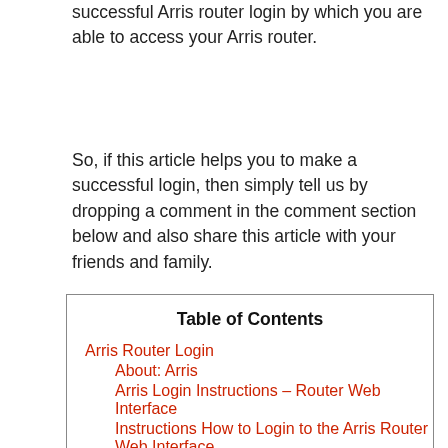successful Arris router login by which you are able to access your Arris router.
So, if this article helps you to make a successful login, then simply tell us by dropping a comment in the comment section below and also share this article with your friends and family.
| Table of Contents |
| --- |
| Arris Router Login |
| About: Arris |
| Arris Login Instructions – Router Web Interface |
| Instructions How to Login to the Arris Router Web Interface |
| What if an Arris router router... |